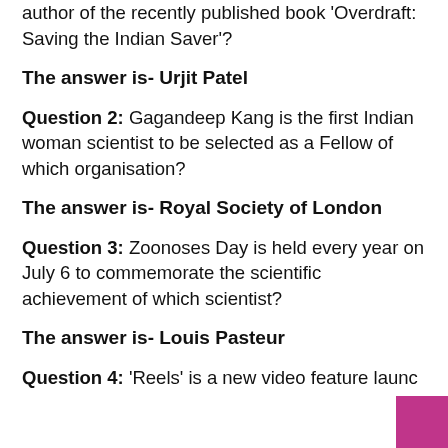author of the recently published book 'Overdraft: Saving the Indian Saver'?
The answer is- Urjit Patel
Question 2: Gagandeep Kang is the first Indian woman scientist to be selected as a Fellow of which organisation?
The answer is- Royal Society of London
Question 3: Zoonoses Day is held every year on July 6 to commemorate the scientific achievement of which scientist?
The answer is- Louis Pasteur
Question 4: ‘Reels’ is a new video feature launc